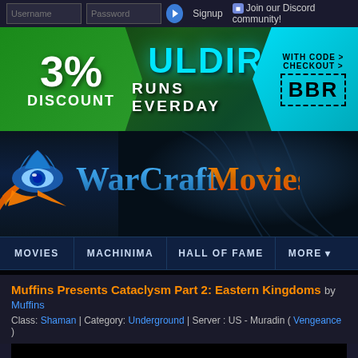Username | Password | Signup | Join our Discord community!
[Figure (infographic): Advertisement banner: '3% DISCOUNT ULDIR RUNS EVERDAY WITH CODE CHECKOUT BBR']
[Figure (logo): WarcraftMovies logo with eye icon and stylized text]
MOVIES | MACHINIMA | HALL OF FAME | MORE
Muffins Presents Cataclysm Part 2: Eastern Kingdoms by Muffins
Class: Shaman | Category: Underground | Server : US - Muradin ( Vengeance )
[Figure (screenshot): Black video player embed area]